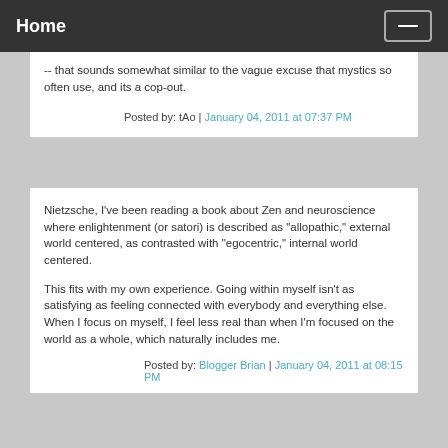Home
-- that sounds somewhat similar to the vague excuse that mystics so often use, and its a cop-out.
Posted by: tAo | January 04, 2011 at 07:37 PM
Nietzsche, I've been reading a book about Zen and neuroscience where enlightenment (or satori) is described as "allopathic," external world centered, as contrasted with "egocentric," internal world centered.

This fits with my own experience. Going within myself isn't as satisfying as feeling connected with everybody and everything else. When I focus on myself, I feel less real than when I'm focused on the world as a whole, which naturally includes me.
Posted by: Blogger Brian | January 04, 2011 at 08:15 PM